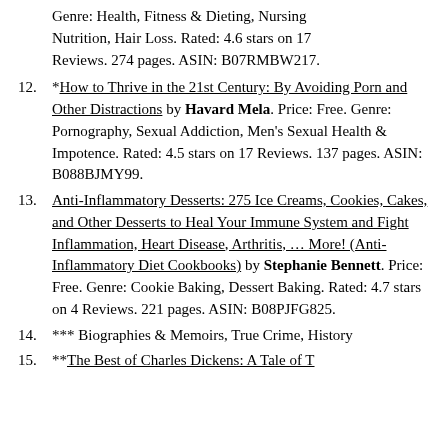(continuation) Genre: Health, Fitness & Dieting, Nursing Nutrition, Hair Loss. Rated: 4.6 stars on 17 Reviews. 274 pages. ASIN: B07RMBW217.
12. *How to Thrive in the 21st Century: By Avoiding Porn and Other Distractions by Havard Mela. Price: Free. Genre: Pornography, Sexual Addiction, Men's Sexual Health & Impotence. Rated: 4.5 stars on 17 Reviews. 137 pages. ASIN: B088BJMY99.
13. Anti-Inflammatory Desserts: 275 Ice Creams, Cookies, Cakes, and Other Desserts to Heal Your Immune System and Fight Inflammation, Heart Disease, Arthritis, ... More! (Anti-Inflammatory Diet Cookbooks) by Stephanie Bennett. Price: Free. Genre: Cookie Baking, Dessert Baking. Rated: 4.7 stars on 4 Reviews. 221 pages. ASIN: B08PJFG825.
14. *** Biographies & Memoirs, True Crime, History
15. **The Best of Charles Dickens: A Tale of T...